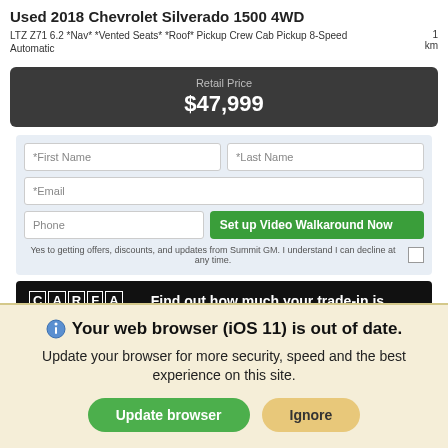Used 2018 Chevrolet Silverado 1500 4WD
LTZ Z71 6.2 *Nav* *Vented Seats* *Roof* Pickup Crew Cab Pickup 8-Speed Automatic	1 km
Retail Price
$47,999
[Figure (screenshot): Contact form with First Name, Last Name, Email, Phone fields and 'Set up Video Walkaround Now' green button, plus consent checkbox]
[Figure (screenshot): CARFAX banner: Find out how much your trade-in is worth.]
Your web browser (iOS 11) is out of date.
Update your browser for more security, speed and the best experience on this site.
Update browser   Ignore